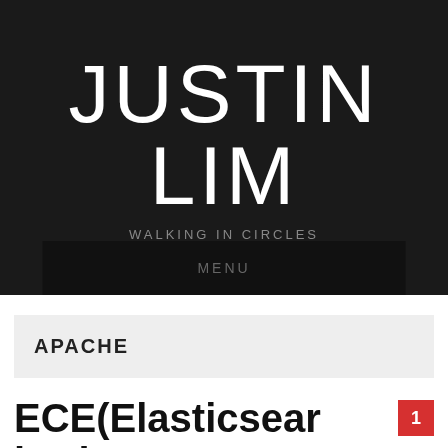JUSTIN LIM
WALKING IN CIRCLES
MENU
APACHE
ECE(Elasticsearch Cloud… 1